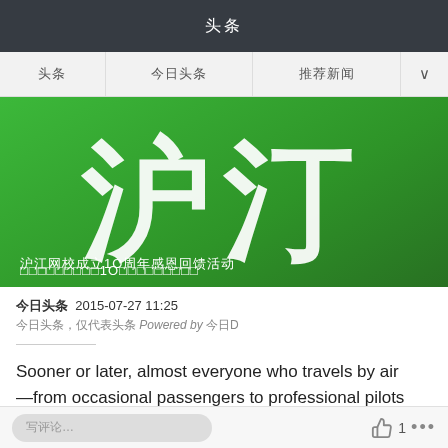头条
头条  今日头条  推荐新闻  ∨
[Figure (illustration): Green banner with large white Chinese characters '沪江' and caption text below reading '沪江网校成立10周年感恩回馈活动']
今日头条  2015-07-27 11:25
今日头条，仅代表头条 Powered by 今日D
Sooner or later, almost everyone who travels by air—from occasional passengers to professional pilots
写评论…   👍 1  •••